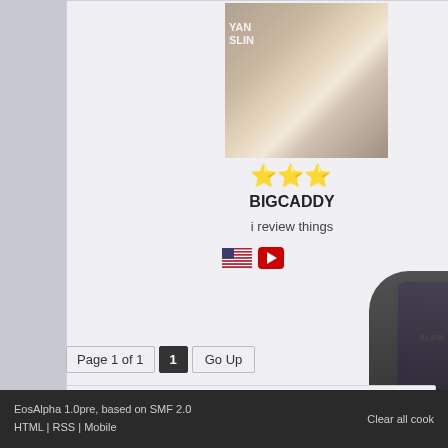[Figure (photo): Profile photo of a man in a black jacket, partially showing a Ryan Gosling event backdrop behind him]
★★★
BIGCADDY
i review things
[Figure (infographic): US flag emoji and YouTube icon/button]
[Figure (photo): Advertisement showing a hand holding a phone with purple screen displaying $2,650, and a dark-clothed figure on the right]
Page 1 of 1  1  Go Up
The Mugen Fighters Guild → M.U.G.E.N Central → Projects → Character WIPs - Captain America (MCU/Ultimates inspired) & Doom Marine
EosAlpha 1.0pre, based on SMF 2.0
HTML | RSS | Mobile
Clear all cook